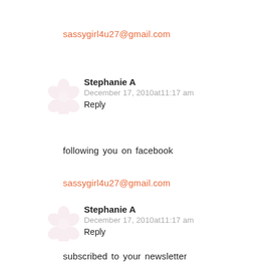sassygirl4u27@gmail.com
Stephanie A
December 17, 2010at11:17 am
Reply
following you on facebook
sassygirl4u27@gmail.com
Stephanie A
December 17, 2010at11:17 am
Reply
subscribed to your newsletter